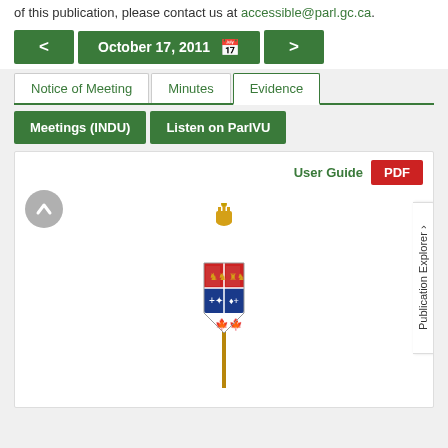of this publication, please contact us at accessible@parl.gc.ca.
October 17, 2011 [date navigation]
Notice of Meeting | Minutes | Evidence
Meetings (INDU) | Listen on ParlVU
User Guide   PDF
[Figure (illustration): Canadian Parliament coat of arms / mace symbol with crown on top and shield with maple leaf motifs]